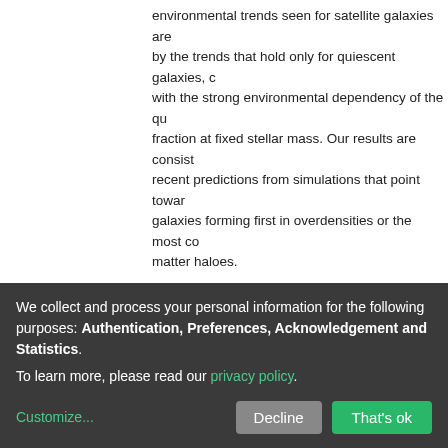environmental trends seen for satellite galaxies are by the trends that hold only for quiescent galaxies, c with the strong environmental dependency of the qu fraction at fixed stellar mass. Our results are consist recent predictions from simulations that point towar galaxies forming first in overdensities or the most co matter haloes.
| Field | Value |
| --- | --- |
| URI: | http://hdl.handle.net/20.500.12386/31699 |
| URL: | https://iopscience.iop.org/article/10.3847/1538-4357...
https://api.elsevier.com/content/abstract/scopus_id/8... |
| ISSN: | 0004-637X |
| DOI: | 10.3847/1538-4357/ac4419 |
We collect and process your personal information for the following purposes: Authentication, Preferences, Acknowledgement and Statistics.
To learn more, please read our privacy policy.